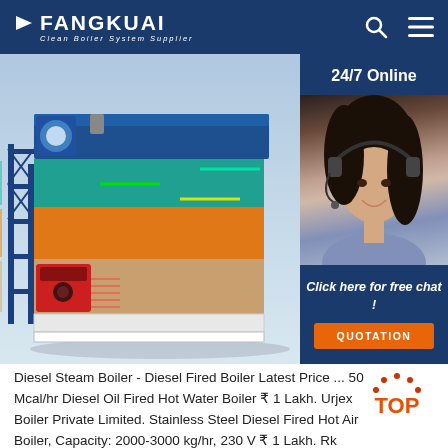FANGKUAI Clean Boiler System Supplier
[Figure (illustration): Industrial steam boiler cutaway/exploded product illustration showing internal heat exchanger tubes, burner section, and thermal flow arrows in multiple colors (blue, green, yellow, orange, red). On the right side is a 24/7 Online customer service panel with a female agent wearing a headset, a 'Click here for free chat!' message, and an orange 'QUOTATION' button.]
[Figure (other): Orange/red 'TOP' badge with decorative dots arranged in an arc]
Diesel Steam Boiler - Diesel Fired Boiler Latest Price ... 50 Mcal/hr Diesel Oil Fired Hot Water Boiler ₹ 1 Lakh. Urjex Boiler Private Limited. Stainless Steel Diesel Fired Hot Air Boiler, Capacity: 2000-3000 kg/hr, 230 V ₹ 1 Lakh. Rk Engineering. Diesel